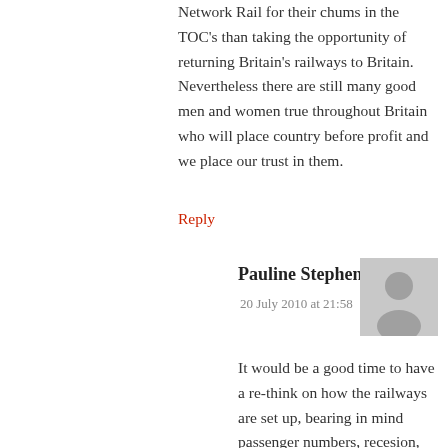Network Rail for their chums in the TOC's than taking the opportunity of returning Britain's railways to Britain. Nevertheless there are still many good men and women true throughout Britain who will place country before profit and we place our trust in them.
Reply
Pauline Stephens
20 July 2010 at 21:58
It would be a good time to have a re-think on how the railways are set up, bearing in mind passenger numbers, recesion, requirement of the TOC's to pay more as the years go by. How and by what is the question. The shareholders require more that 1p per share if sold off. Perhaps the